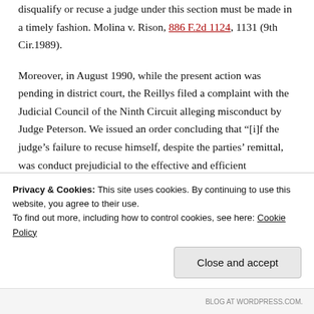disqualify or recuse a judge under this section must be made in a timely fashion. Molina v. Rison, 886 F.2d 1124, 1131 (9th Cir.1989).
Moreover, in August 1990, while the present action was pending in district court, the Reillys filed a complaint with the Judicial Council of the Ninth Circuit alleging misconduct by Judge Peterson. We issued an order concluding that "[i]f the judge's failure to recuse himself, despite the parties' remittal, was conduct prejudicial to the effective and efficient administration of the business of the courts, appropriate and corrective action has been taken and this complaint therefore should be closed." In re Charge of Judicial
Privacy & Cookies: This site uses cookies. By continuing to use this website, you agree to their use.
To find out more, including how to control cookies, see here: Cookie Policy
Close and accept